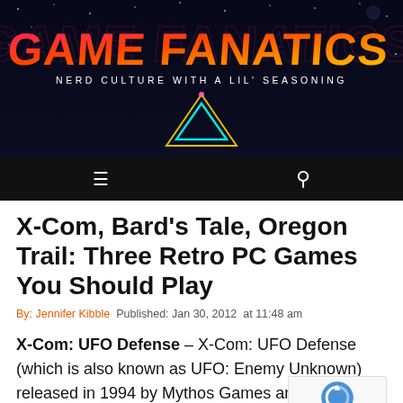[Figure (logo): Game Fanatics logo banner with neon retro styling. Text reads 'GAME FANATICS' in large pink/orange graffiti font with 'NERD CULTURE WITH A LIL' SEASONING' below in white spaced letters. A neon triangle outline in cyan/yellow/pink sits below on a dark starfield background.]
≡  🔍
X-Com, Bard's Tale, Oregon Trail: Three Retro PC Games You Should Play
By: Jennifer Kibble  Published: Jan 30, 2012  at 11:48 am
X-Com: UFO Defense – X-Com: UFO Defense (which is also known as UFO: Enemy Unknown) released in 1994 by Mythos Games and Micro Software. This is the first of the series and is...